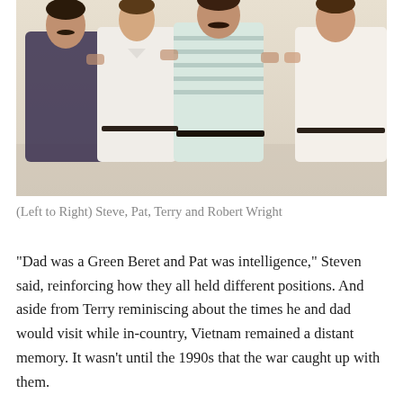[Figure (photo): A vintage photograph showing four men standing together with arms around each other's shoulders, posing for the camera. From left to right: Steve (dark plaid shirt, mustache), Pat (white shirt, younger), Terry (light blue and white striped polo, mustache), and Robert Wright (white shirt, on far right, partially cropped).]
(Left to Right) Steve, Pat, Terry and Robert Wright
“Dad was a Green Beret and Pat was intelligence,” Steven said, reinforcing how they all held different positions. And aside from Terry reminiscing about the times he and dad would visit while in-country, Vietnam remained a distant memory. It wasn’t until the 1990s that the war caught up with them.